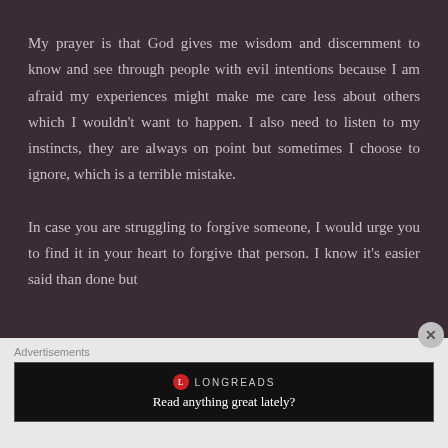My prayer is that God gives me wisdom and discernment to know and see through people with evil intentions because I am afraid my experiences might make me care less about others which I wouldn't want to happen. I also need to listen to my instincts, they are always on point but sometimes I choose to ignore, which is a terrible mistake.

In case you are struggling to forgive someone, I would urge you to find it in your heart to forgive that person. I know it's easier said than done but
Advertisements
[Figure (logo): Longreads advertisement banner with red circle logo and tagline 'Read anything great lately?']